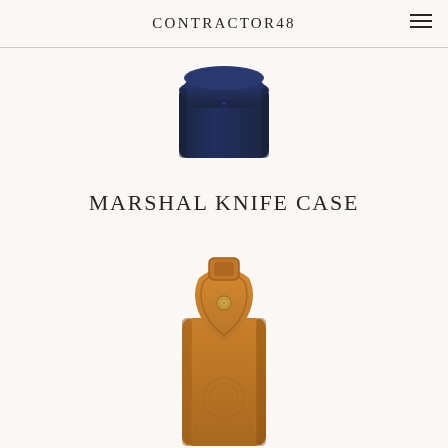CONTRACTOR48
[Figure (photo): Top portion of a dark navy blue leather knife case with rounded flap closure, cropped at top]
MARSHAL KNIFE CASE
[Figure (photo): Tan/cognac leather knife case with decorative flap closure featuring a snap button, embossed details, and belt loop attachment]